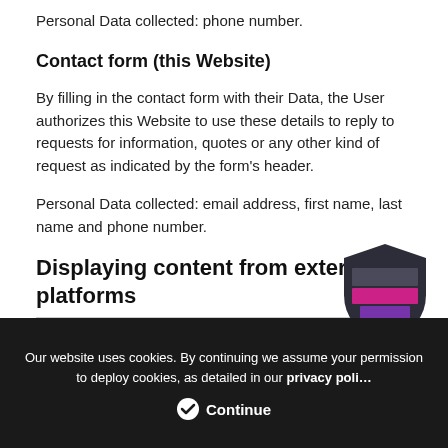Personal Data collected: phone number.
Contact form (this Website)
By filling in the contact form with their Data, the User authorizes this Website to use these details to reply to requests for information, quotes or any other kind of request as indicated by the form's header.
Personal Data collected: email address, first name, last name and phone number.
Displaying content from external platforms
This type of service allows you to view content hosted
Our website uses cookies. By continuing we assume your permission to deploy cookies, as detailed in our privacy policy
Continue